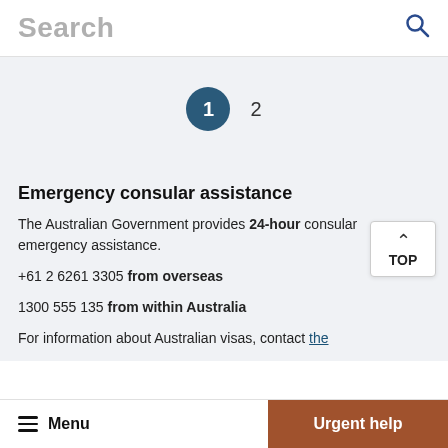Search
1  2
Emergency consular assistance
The Australian Government provides 24-hour consular emergency assistance.
+61 2 6261 3305 from overseas
1300 555 135 from within Australia
For information about Australian visas, contact the
Menu  Urgent help